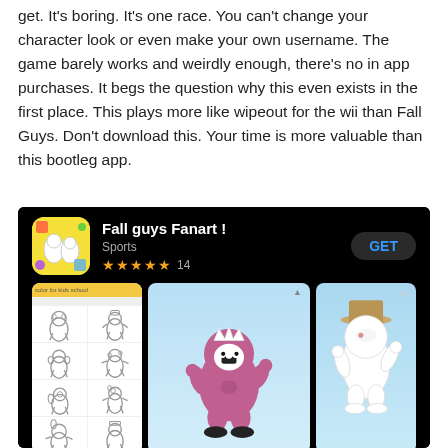get. It's boring. It's one race. You can't change your character look or even make your own username. The game barely works and weirdly enough, there's no in app purchases. It begs the question why this even exists in the first place. This plays more like wipeout for the wii than Fall Guys. Don't download this. Your time is more valuable than this bootleg app.
[Figure (screenshot): App Store listing for 'Fall guys Fanart !' categorized as Sports with 5 stars and 14 ratings, showing a GET button and screenshots of cartoon character coloring pages including a purple Fall Guys character and a white character with a top hat.]